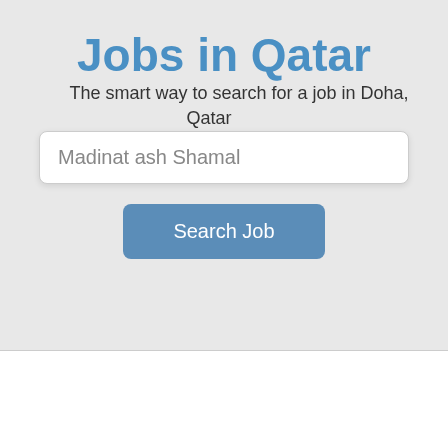Jobs in Qatar
The smart way to search for a job in Doha, Qatar
[Figure (screenshot): Search input field with placeholder text 'Madinat ash Shamal']
[Figure (screenshot): Blue rounded button labeled 'Search Job']